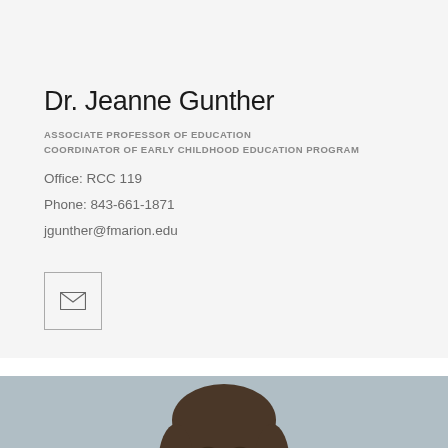Dr. Jeanne Gunther
ASSOCIATE PROFESSOR OF EDUCATION
COORDINATOR OF EARLY CHILDHOOD EDUCATION PROGRAM
Office: RCC 119
Phone: 843-661-1871
jgunther@fmarion.edu
[Figure (other): Email icon button — envelope icon inside a square border]
[Figure (photo): Headshot photo of Dr. Jeanne Gunther, a woman with dark brown shoulder-length hair, against a light blue-gray background]